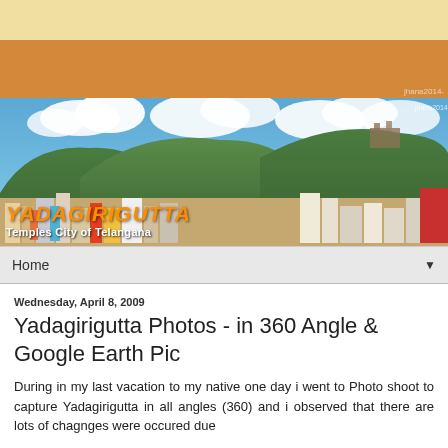[Figure (photo): Panoramic banner photo of Yadagirigutta showing hills, temples, and city buildings against a blue sky with clouds. Text overlay reads YADAGIRIGUTTA Temples City of Telangana. Watermark jhana2014 visible top right.]
Home ▼
Wednesday, April 8, 2009
Yadagirigutta Photos - in 360 Angle & Google Earth Pic
During in my last vacation to my native one day i went to Photo shoot to capture Yadagirigutta in all angles (360) and i observed that there are lots of chagnges were occured due